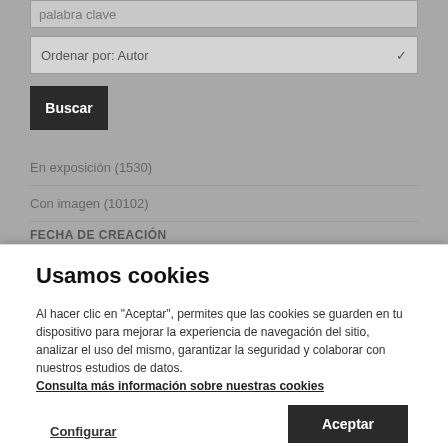palabra clave
Ordenar por: Autor
Buscar
En exposición (1530)
Con imagen (10102)
FECHA DE CREACIÓN
Usamos cookies
Al hacer clic en "Aceptar", permites que las cookies se guarden en tu dispositivo para mejorar la experiencia de navegación del sitio, analizar el uso del mismo, garantizar la seguridad y colaborar con nuestros estudios de datos. Consulta más información sobre nuestras cookies
Configurar
Aceptar